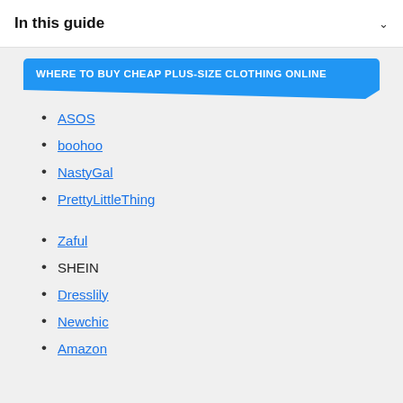In this guide
WHERE TO BUY CHEAP PLUS-SIZE CLOTHING ONLINE
ASOS
boohoo
NastyGal
PrettyLittleThing
Zaful
SHEIN
Dresslily
Newchic
Amazon